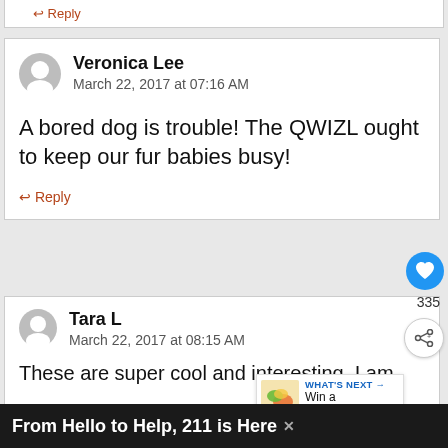↩ Reply
Veronica Lee
March 22, 2017 at 07:16 AM
A bored dog is trouble! The QWIZL ought to keep our fur babies busy!
↩ Reply
Tara L
March 22, 2017 at 08:15 AM
These are super cool and interesting. I am
WHAT'S NEXT → Win a Zogoflex...
From Hello to Help, 211 is Here